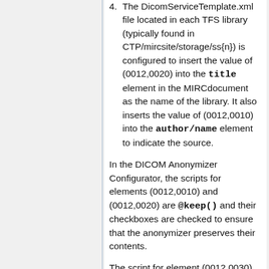4. The DicomServiceTemplate.xml file located in each TFS library (typically found in CTP/mircsite/storage/ss{n}) is configured to insert the value of (0012,0020) into the title element in the MIRCdocument as the name of the library. It also inserts the value of (0012,0010) into the author/name element to indicate the source.
In the DICOM Anonymizer Configurator, the scripts for elements (0012,0010) and (0012,0020) are @keep() and their checkboxes are checked to ensure that the anonymizer preserves their contents.
The script for element (0012,0030) is:
@always()@lookup(ClinicalTr...